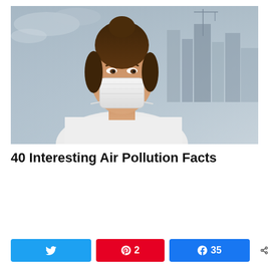[Figure (photo): A young woman wearing a white surgical face mask and white t-shirt, with hair in a bun, standing against a hazy city skyline background with grey skies and buildings, suggesting air pollution.]
40 Interesting Air Pollution Facts
Twitter share button, Pinterest share button (2), Facebook share button (35), 37 SHARES